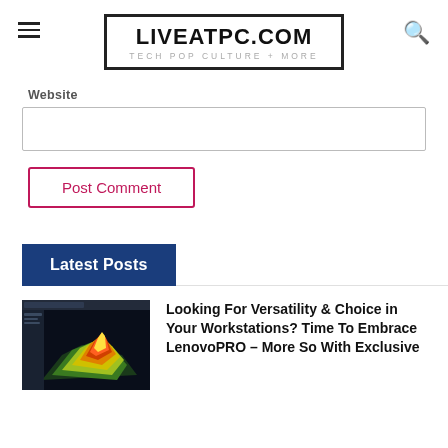LIVEATPC.COM — TECH POP CULTURE + MORE
Website
Post Comment
Latest Posts
[Figure (screenshot): Screenshot of a 3D terrain visualization software with colorful topographic mesh on dark background]
Looking For Versatility & Choice in Your Workstations? Time To Embrace LenovoPRO – More So With Exclusive